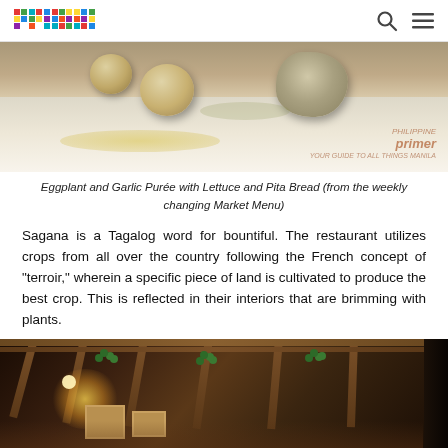primer
[Figure (photo): Close-up food photo of Eggplant and Garlic Purée with Lettuce and Pita Bread on a white plate with olive oil, with a Primer watermark in the lower right corner.]
Eggplant and Garlic Purée with Lettuce and Pita Bread (from the weekly changing Market Menu)
Sagana is a Tagalog word for bountiful. The restaurant utilizes crops from all over the country following the French concept of "terroir," wherein a specific piece of land is cultivated to produce the best crop. This is reflected in their interiors that are brimming with plants.
[Figure (photo): Interior photo of Sagana restaurant showing warm wood-beam ceiling with hanging green plants, warm Edison bulb lighting, framed artwork on the wall, and a dark door on the right side.]